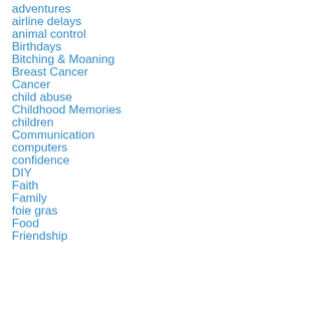adventures
airline delays
animal control
Birthdays
Bitching & Moaning
Breast Cancer
Cancer
child abuse
Childhood Memories
children
Communication
computers
confidence
DIY
Faith
Family
foie gras
Food
Friendship